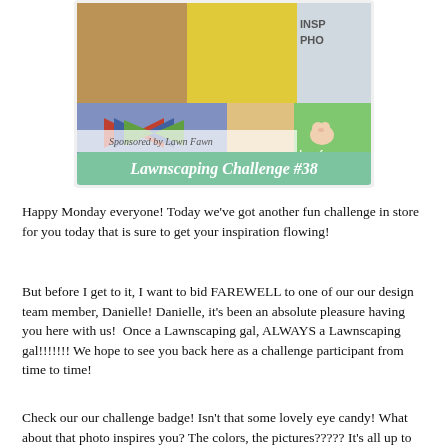[Figure (illustration): Lawnscaping Challenge #38 badge showing a collage of colorful party/craft photos with bow ties and flowers, sponsored by Lawn Fawn, with a green banner reading 'Lawnscaping Challenge #38']
Happy Monday everyone! Today we've got another fun challenge in store for you today that is sure to get your inspiration flowing!
But before I get to it, I want to bid FAREWELL to one of our our design team member, Danielle! Danielle, it's been an absolute pleasure having you here with us!  Once a Lawnscaping gal, ALWAYS a Lawnscaping gal!!!!!!! We hope to see you back here as a challenge participant from time to time!
Check our our challenge badge! Isn't that some lovely eye candy! What about that photo inspires you? The colors, the pictures????? It's all up to you and what your take of the photo is.